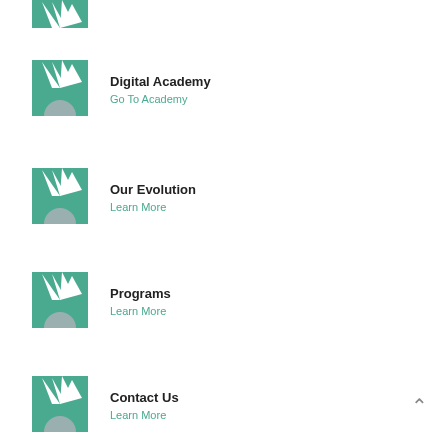[Figure (logo): Partial teal sunburst logo at top of page, cropped]
Digital Academy
Go To Academy
Our Evolution
Learn More
Programs
Learn More
Contact Us
Learn More